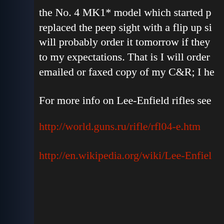the No. 4 MK1* model which started p replaced the peep sight with a flip up si will probably order it tomorrow if they to my expectations. That is I will order emailed or faxed copy of my C&R; I he
For more info on Lee-Enfield rifles see
http://world.guns.ru/rifle/rfl04-e.htm
http://en.wikipedia.org/wiki/Lee-Enfield